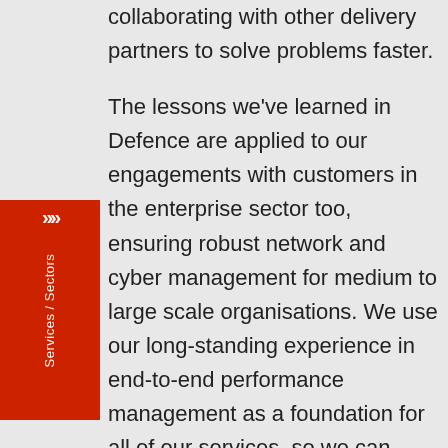collaborating with other delivery partners to solve problems faster.

The lessons we've learned in Defence are applied to our engagements with customers in the enterprise sector too, ensuring robust network and cyber management for medium to large scale organisations. We use our long-standing experience in end-to-end performance management as a foundation for all of our services, so we can better define a customer's complete requirements and deliver a more effective solution, whatever the field of technology. Offering market-leading technology and trusted managed services from 'Floodlight' - our own UK sovereign SOC,
Services / Sectors